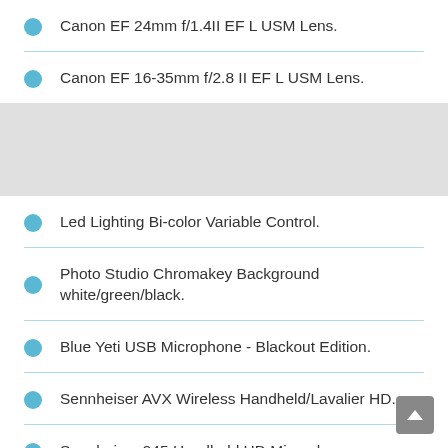Canon EF 24mm f/1.4II EF L USM Lens.
Canon EF 16-35mm f/2.8 II EF L USM Lens.
Led Lighting Bi-color Variable Control.
Photo Studio Chromakey Background white/green/black.
Blue Yeti USB Microphone - Blackout Edition.
Sennheiser AVX Wireless Handheld/Lavalier HD.
Sennheiser 945 Handheld HD Microphone.
Yamaha MG20XU Console - 20 channel stereo mixer with effects.